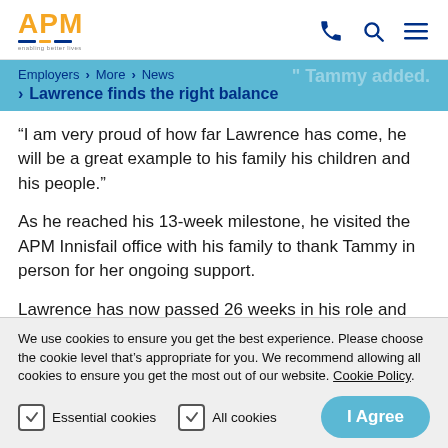APM enabling better lives — navigation header with phone, search, and menu icons
Employers > More > News > Lawrence finds the right balance
“I am very proud of how far Lawrence has come, he will be a great example to his family his children and his people.”
As he reached his 13-week milestone, he visited the APM Innisfail office with his family to thank Tammy in person for her ongoing support.
Lawrence has now passed 26 weeks in his role and
We use cookies to ensure you get the best experience. Please choose the cookie level that’s appropriate for you. We recommend allowing all cookies to ensure you get the most out of our website. Cookie Policy.
Essential cookies   All cookies   I Agree